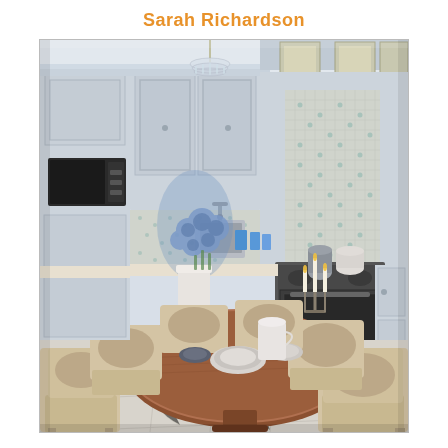Sarah Richardson
[Figure (photo): A bright kitchen with light blue-grey painted cabinetry, mosaic tile backsplash, crystal chandelier, and a stainless steel range. In the foreground is a round wooden dining table surrounded by beige upholstered chairs. The floor features marble-look tiles.]